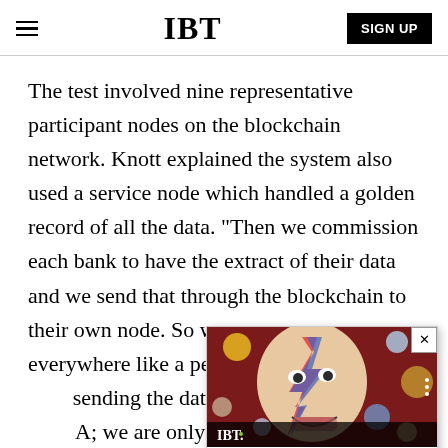IBT | SIGN UP
The test involved nine representative participant nodes on the blockchain network. Knott explained the system also used a service node which handled a golden record of all the data. "Then we commission each bank to have the extract of their data and we send that through the blockchain to their own node. So we are not sending the data everywhere like a perfect broadcast; we are only sending the data that is relevant to bank A; we are only sending the data that is relevant to bank B to bank B."
[Figure (screenshot): IBT video popup showing a person with colorful face paint and circles, with title 'NewSpiderGenus,Se...' and a close button]